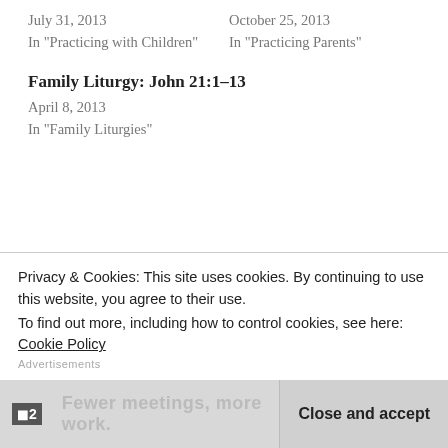July 31, 2013
In "Practicing with Children"
October 25, 2013
In "Practicing Parents"
Family Liturgy: John 21:1–13
April 8, 2013
In "Family Liturgies"
Tags: children, family, freedom, Jesus, kids, parenting, parenting with grace. Bookmark the permalink.
Privacy & Cookies: This site uses cookies. By continuing to use this website, you agree to their use.
To find out more, including how to control cookies, see here: Cookie Policy
Close and accept